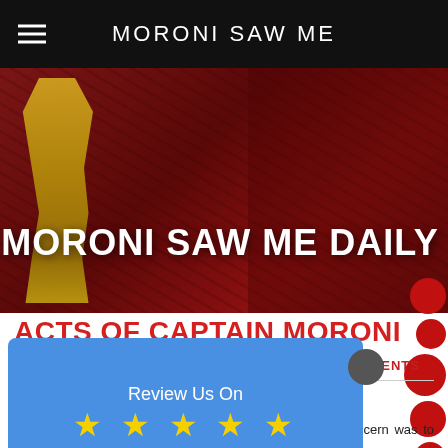MORONI SAW ME
[Figure (photo): Hero banner with red-tinted background, gold statue figure on left, and large white bold text reading MORONI SAW ME DAILY]
ACTS OF CAPTAIN MORONI
COMMENTS
LESSONS OF THE PAST
e commander of concern was to elebrity. Moroni,
[Figure (infographic): Blue overlay popup card with text: Review Us On, five yellow stars, Facebook]